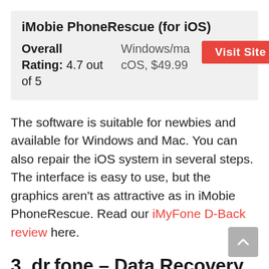iMobie PhoneRescue (for iOS)
| Overall Rating: 4.7 out of 5 | Windows/macOS, $49.99 | Visit Site |
The software is suitable for newbies and available for Windows and Mac. You can also repair the iOS system in several steps. The interface is easy to use, but the graphics aren't as attractive as in iMobie PhoneRescue. Read our iMyFone D-Back review here.
3. dr.fone – Data Recovery (iPhone Data Recovery)